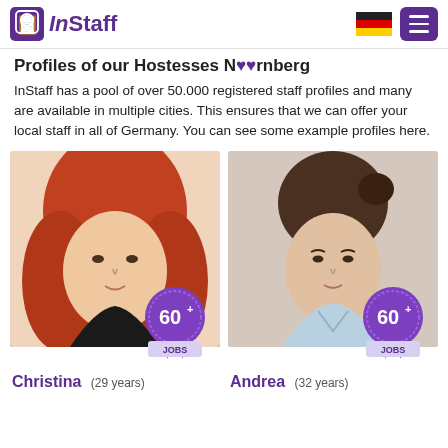InStaff — logo and navigation with German flag and menu button
Profiles of our Hostesses Nürnberg
InStaff has a pool of over 50.000 registered staff profiles and many are available in multiple cities. This ensures that we can offer your local staff in all of Germany. You can see some example profiles here.
[Figure (photo): Profile photo of Christina, woman with red hair, with a badge showing 60+ JOBS]
[Figure (photo): Profile photo of Andrea, woman with dark hair in a bun wearing a light blue shirt, with a badge showing 60+ JOBS]
Christina (29 years)
Andrea (32 years)